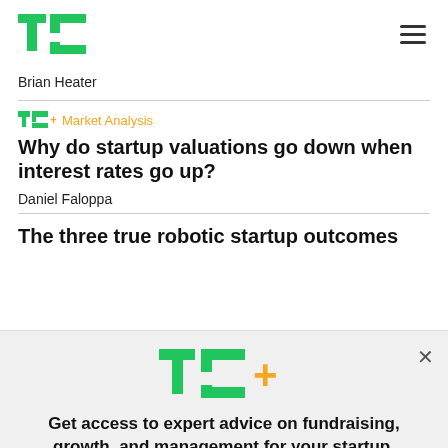TechCrunch logo and navigation
Brian Heater
TC+ Market Analysis
Why do startup valuations go down when interest rates go up?
Daniel Faloppa
The three true robotic startup outcomes
Get access to expert advice on fundraising, growth, and management for your startup.
EXPLORE NOW